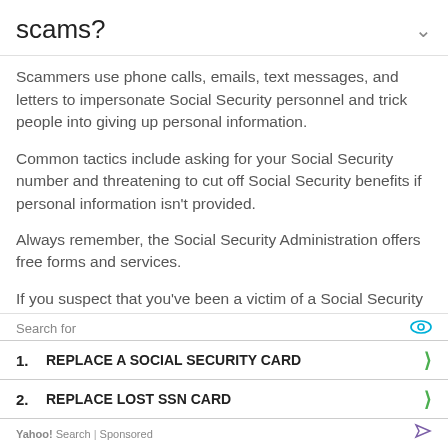scams?
Scammers use phone calls, emails, text messages, and letters to impersonate Social Security personnel and trick people into giving up personal information.
Common tactics include asking for your Social Security number and threatening to cut off Social Security benefits if personal information isn't provided.
Always remember, the Social Security Administration offers free forms and services.
If you suspect that you've been a victim of a Social Security scam or wish to report any attempts, you can call the Office of the Inspector General hotline (1-800-269-0271) from 10 a.m. to 4 p.m. ET, Monday through Friday,
Search for
1. REPLACE A SOCIAL SECURITY CARD
2. REPLACE LOST SSN CARD
Yahoo! Search | Sponsored